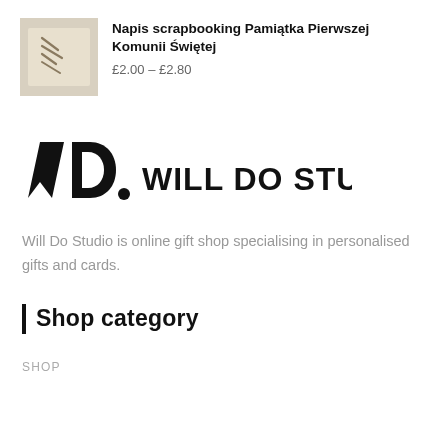[Figure (photo): Product thumbnail image of scrapbooking item on light beige background]
Napis scrapbooking Pamiątka Pierwszej Komunii Świętej
£2.00 – £2.80
[Figure (logo): Will Do Studio logo with stylized WD monogram and text WILL DO STUDIO]
Will Do Studio is online gift shop specialising in personalised gifts and cards.
Shop category
SHOP